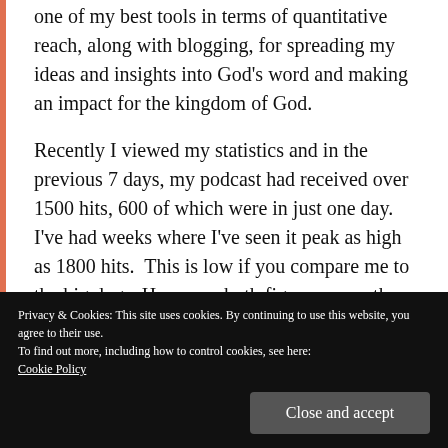one of my best tools in terms of quantitative reach, along with blogging, for spreading my ideas and insights into God's word and making an impact for the kingdom of God.
Recently I viewed my statistics and in the previous 7 days, my podcast had received over 1500 hits, 600 of which were in just one day. I've had weeks where I've seen it peak as high as 1800 hits.  This is low if you compare me to the big dogs. However, both figures, even the
Privacy & Cookies: This site uses cookies. By continuing to use this website, you agree to their use.
To find out more, including how to control cookies, see here: Cookie Policy
Close and accept